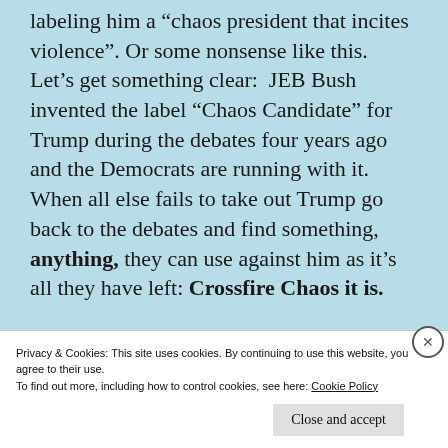labeling him a “chaos president that incites violence”. Or some nonsense like this. Let’s get something clear: JEB Bush invented the label “Chaos Candidate” for Trump during the debates four years ago and the Democrats are running with it. When all else fails to take out Trump go back to the debates and find something, anything, they can use against him as it’s all they have left: Crossfire Chaos it is.
Privacy & Cookies: This site uses cookies. By continuing to use this website, you agree to their use.
To find out more, including how to control cookies, see here: Cookie Policy
Close and accept